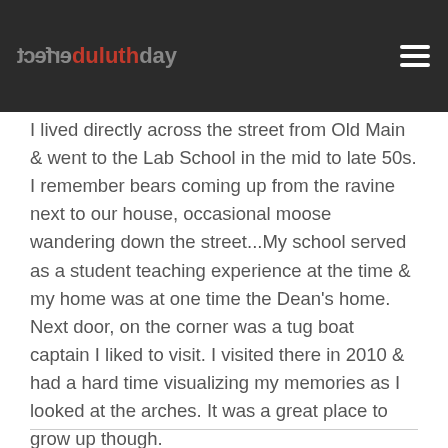erfect duluthday
I lived directly across the street from Old Main & went to the Lab School in the mid to late 50s. I remember bears coming up from the ravine next to our house, occasional moose wandering down the street...My school served as a student teaching experience at the time & my home was at one time the Dean's home. Next door, on the corner was a tug boat captain I liked to visit. I visited there in 2010 & had a hard time visualizing my memories as I looked at the arches. It was a great place to grow up though.